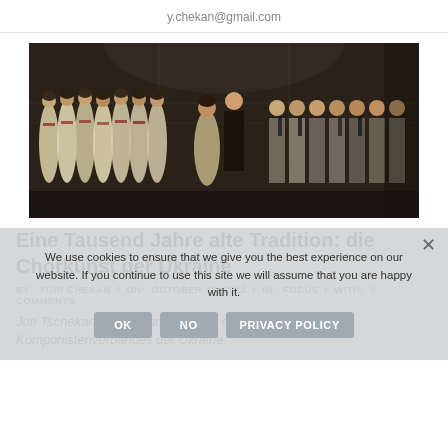y.chekan@gmail.com
[Figure (photo): A choir ensemble on stage, with women in white/cream traditional Ukrainian gowns on the left and men in suits on the right, performing on a dark stage.]
Eine Tausend Jahre alte Tradition: die Chorkunst der Ukraine
BY: YURI CHEKAN / ON: OCTOBER 15, 2012 / IN: FOCUS / WITH: 0 COMMENTS
Juri Tschekan, Dozent und Mitglied des nationalen Komponistenverbandes der Ukraine
We use cookies to ensure that we give you the best experience on our website. If you continue to use this site we will assume that you are happy with it.